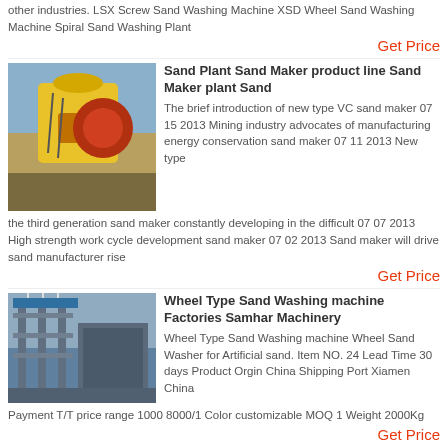other industries. LSX Screw Sand Washing Machine XSD Wheel Sand Washing Machine Spiral Sand Washing Plant
Get Price
[Figure (photo): Yellow industrial sand making/crushing machine equipment outdoors]
Sand Plant Sand Maker product line Sand Maker plant Sand
The brief introduction of new type VC sand maker 07 15 2013 Mining industry advocates of manufacturing energy conservation sand maker 07 11 2013 New type the third generation sand maker constantly developing in the difficult 07 07 2013 High strength work cycle development sand maker 07 02 2013 Sand maker will drive sand manufacturer rise
Get Price
[Figure (photo): Construction site with large industrial machinery and scaffolding]
Wheel Type Sand Washing machine Factories Samhar Machinery
Wheel Type Sand Washing machine Wheel Sand Washer for Artificial sand. Item NO. 24 Lead Time 30 days Product Orgin China Shipping Port Xiamen China Payment T/T price range 1000 8000/1 Color customizable MOQ 1 Weight 2000Kg
Get Price